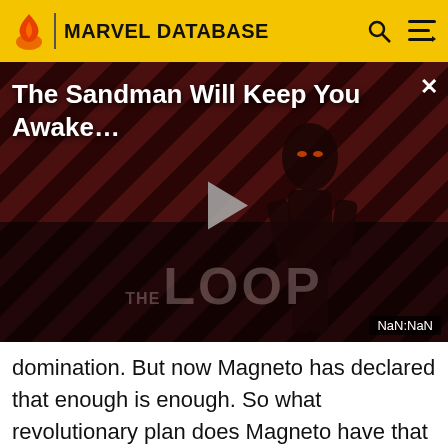MARVEL DATABASE
[Figure (screenshot): Video player thumbnail for 'The Sandman Will Keep You Awake...' with diagonal red and dark striped background, a figure in black, THE LOOP logo watermark, play button in center, NaN:NaN timestamp, and close X button.]
domination. But now Magneto has declared that enough is enough. So what revolutionary plan does Magneto have that will change the face of mutantkind? And will anyone be able to stop him? Will anyone want to? PLUS: Includes Part 1 of X-MEN BLACK: APOCALYPSE the back up story by